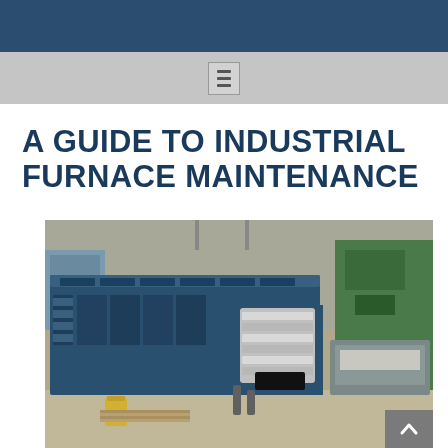A GUIDE TO INDUSTRIAL FURNACE MAINTENANCE
[Figure (photo): Industrial furnace in a factory setting. A large blue metal furnace/conveyor system is shown in an industrial facility with other heavy equipment visible in the background. An insulated duct or hood component is visible at the front of the furnace.]